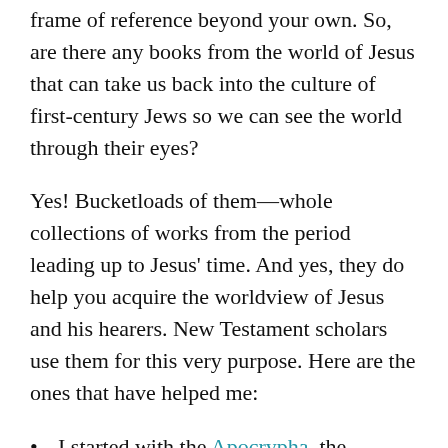frame of reference beyond your own. So, are there any books from the world of Jesus that can take us back into the culture of first-century Jews so we can see the world through their eyes?
Yes! Bucketloads of them—whole collections of works from the period leading up to Jesus' time. And yes, they do help you acquire the worldview of Jesus and his hearers. New Testament scholars use them for this very purpose. Here are the ones that have helped me:
I started with the Apocrypha, the deutero-canonical books found in Roman Catholic Bible. The Jewish people did not consider